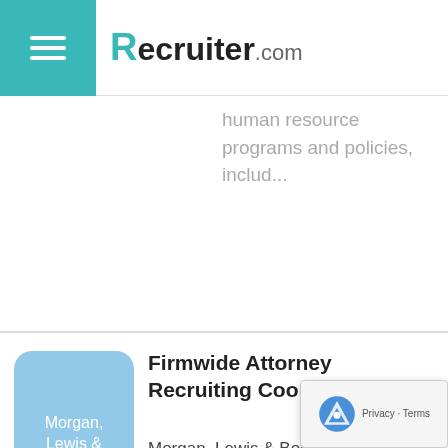Recruiter.com
human resource programs and policies, includ...
[Figure (logo): Morgan, Lewis & Bockius LLP company logo placeholder — rounded rectangle blue box with text]
Firmwide Attorney Recruiting Coordinator
Morgan, Lewis & Bockius LLP - Philadelphia Pennsylvania, US (10 days ago)
Morgan, Lewis &amp; Bockius LLP, one of the world's leading global law firms with offices in strategic hubs of commerce, law, and government across...
[Figure (logo): Square company logo — rounded square icon with Square text]
Recruiting Coordinator, Cash Ap
Square - Philadelphia PA, US (10 da... ago)